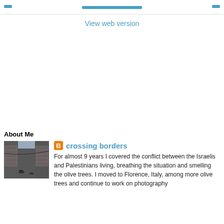[navigation buttons row]
View web version
About Me
[Figure (photo): Street photo showing a narrow alley with shuttered storefronts and rubble on the ground]
crossing borders
For almost 9 years I covered the conflict between the Israelis and Palestinians living, breathing the situation and smelling the olive trees. I moved to Florence, Italy, among more olive trees and continue to work on photography